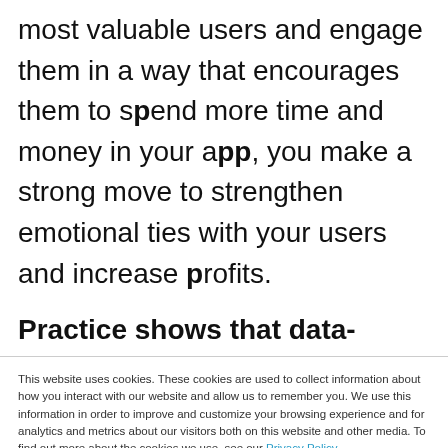most valuable users and engage them in a way that encourages them to spend more time and money in your app, you make a strong move to strengthen emotional ties with your users and increase profits.
Practice shows that data-informed decisions usually translate into more
This website uses cookies. These cookies are used to collect information about how you interact with our website and allow us to remember you. We use this information in order to improve and customize your browsing experience and for analytics and metrics about our visitors both on this website and other media. To find out more about the cookies we use, see our Privacy Policy.